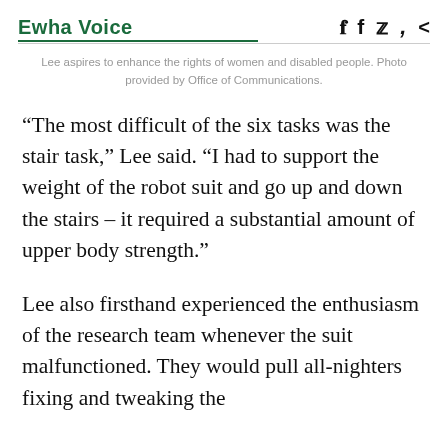Ewha Voice
Lee aspires to enhance the rights of women and disabled people. Photo provided by Office of Communications.
“The most difficult of the six tasks was the stair task,” Lee said. “I had to support the weight of the robot suit and go up and down the stairs – it required a substantial amount of upper body strength.”
Lee also firsthand experienced the enthusiasm of the research team whenever the suit malfunctioned. They would pull all-nighters fixing and tweaking the